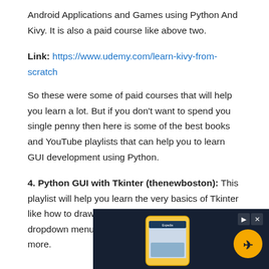Android Applications and Games using Python And Kivy. It is also a paid course like above two.
Link: https://www.udemy.com/learn-kivy-from-scratch
So these were some of paid courses that will help you learn a lot. But if you don't want to spend you single penny then here is some of the best books and YouTube playlists that can help you to learn GUI development using Python.
4. Python GUI with Tkinter (thenewboston): This playlist will help you learn the very basics of Tkinter like how to draw basic widgets like buttons, labels, dropdown menus, frames, checkbox, and many more.
[Figure (photo): Advertisement banner showing a mobile phone with the Expedia app, dark navy background, with an ad control overlay and a circular yellow logo in the top right corner.]